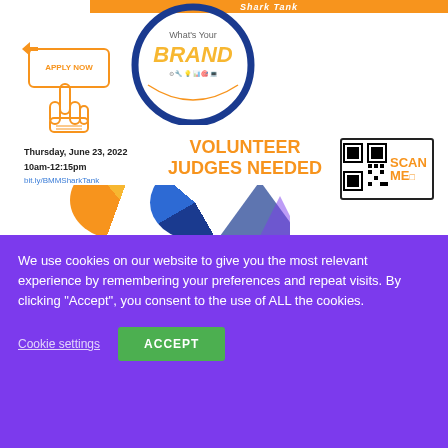[Figure (infographic): Shark Tank event promotional graphic with orange banner at top reading 'Shark Tank', circular blue logo with 'What's Your BRAND' text, hand/finger pointing icon, orange bordered 'APPLY NOW' button, event date Thursday June 23 2022 10am-12:15pm, bit.ly/BMMSharkTank link, 'VOLUNTEER JUDGES NEEDED' text in orange bold, a QR code with 'SCAN ME' text, Metamorphasis Powerhouse Company logo with colorful M and butterfly, and partial bottom logos]
We use cookies on our website to give you the most relevant experience by remembering your preferences and repeat visits. By clicking “Accept”, you consent to the use of ALL the cookies.
Cookie settings
ACCEPT